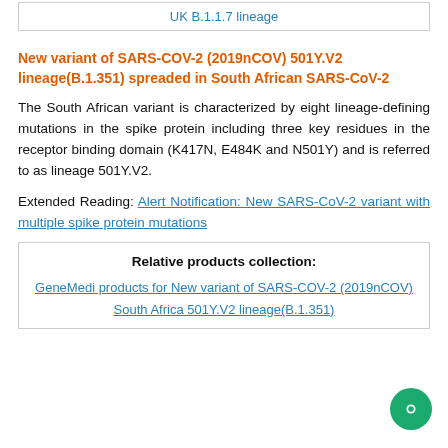| UK B.1.1.7 lineage |
New variant of SARS-COV-2 (2019nCOV) 501Y.V2 lineage(B.1.351) spreaded in South African SARS-CoV-2
The South African variant is characterized by eight lineage-defining mutations in the spike protein including three key residues in the receptor binding domain (K417N, E484K and N501Y) and is referred to as lineage 501Y.V2.
Extended Reading: Alert Notification: New SARS-CoV-2 variant with multiple spike protein mutations
| Relative products collection: |
| --- |
| GeneMedi products for New variant of SARS-COV-2 (2019nCOV) |
| South Africa 501Y.V2 lineage(B.1.351) |